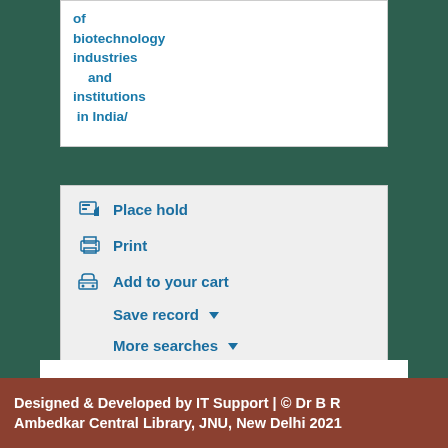of biotechnology industries and institutions in India/
Place hold
Print
Add to your cart
Save record ▾
More searches ▾
Designed & Developed by IT Support | © Dr B R Ambedkar Central Library, JNU, New Delhi 2021